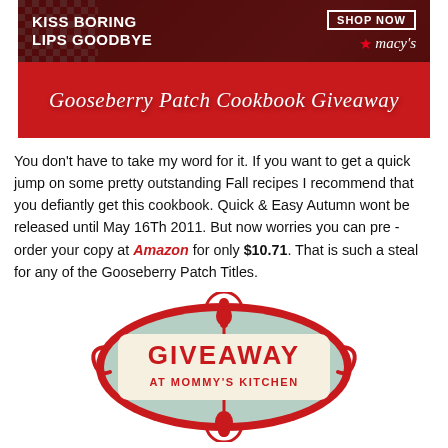[Figure (illustration): Banner ad with dark red background showing 'KISS BORING LIPS GOODBYE' text on left and 'SHOP NOW / macy's' logo on right, overlaid on an image of a woman's face with red lips and food imagery. Below is a red bar with italic white text reading 'Gooseberry Patch Cookbook Giveaway'.]
You don't have to take my word for it. If you want to get a quick jump on some pretty outstanding Fall recipes I recommend that you defiantly get this cookbook. Quick & Easy Autumn wont be released until May 16Th 2011. But now worries you can pre - order your copy at Amazon for only $10.71. That is such a steal for any of the Gooseberry Patch Titles.
[Figure (illustration): Decorative red and mint green ornamental badge/label with text 'GIVEAWAY AT MOMMY'S KITCHEN' in red bold letters on a cream background, surrounded by swirling red decorative border elements and bells at top and bottom.]